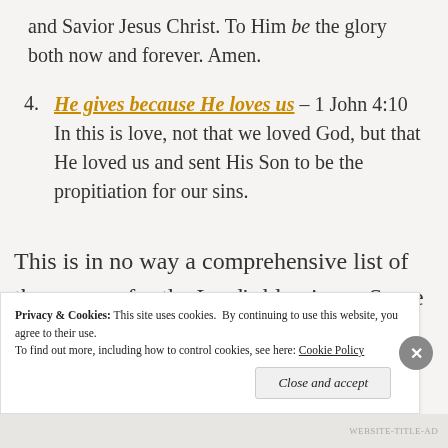and Savior Jesus Christ. To Him be the glory both now and forever. Amen.
4. He gives because He loves us – 1 John 4:10 In this is love, not that we loved God, but that He loved us and sent His Son to be the propitiation for our sins.
This is in no way a comprehensive list of the reasons for the Lord's blessings.  Some explanations we may never receive.
Privacy & Cookies: This site uses cookies. By continuing to use this website, you agree to their use. To find out more, including how to control cookies, see here: Cookie Policy
Close and accept
WEBSITE-TITLE-AD